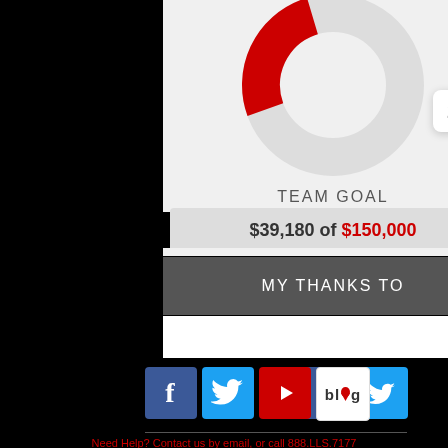[Figure (donut-chart): Team Goal]
TEAM GOAL
$39,180 of $150,000
MY THANKS TO
[Figure (logo): Facebook social media icon]
[Figure (logo): Twitter social media icon]
[Figure (logo): YouTube social media icon]
[Figure (logo): Blog icon with red blood drop]
Need Help? Contact us by email, or call 888.LLS.7177
Refund Policy | Privacy Policy | Security |